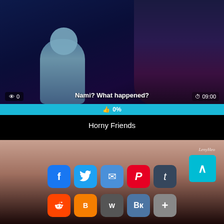[Figure (screenshot): Anime video thumbnail with dark blue background showing two anime characters. Overlay text shows view count 0, subtitle 'Nami? What happened?', and duration 09:00. A cyan progress/like bar at bottom shows 0%.]
Horny Friends
[Figure (screenshot): Partial image below the video with social media share buttons: Facebook, Twitter, Email, Pinterest, Tumblr (top row), Reddit, Blogger, WordPress, VK, More (bottom row). A cyan scroll-to-top button appears on the right.]